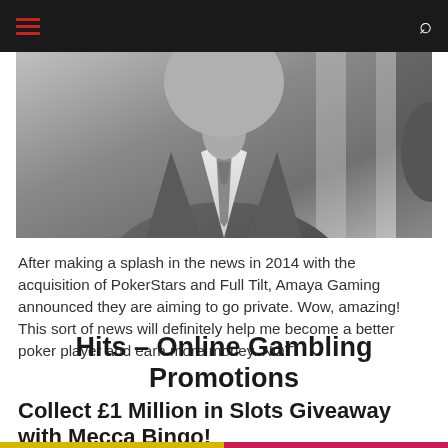Navigation bar with hamburger menu and search icon
[Figure (photo): Black and white photograph of a man in a suit and tie, cropped showing torso and partial face]
After making a splash in the news in 2014 with the acquisition of PokerStars and Full Tilt, Amaya Gaming announced they are aiming to go private. Wow, amazing! This sort of news will definitely help me become a better poker player and earn more money. NOT!
Hits – Online Gambling Promotions
Collect £1 Million in Slots Giveaway with Mecca Bingo!